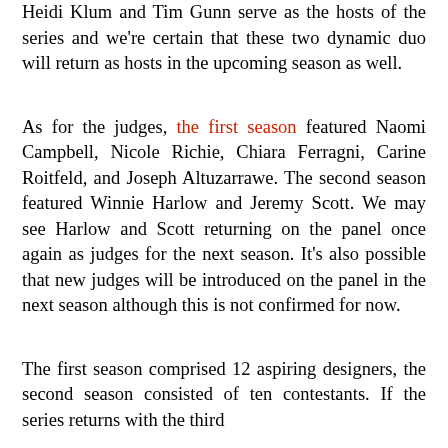Heidi Klum and Tim Gunn serve as the hosts of the series and we're certain that these two dynamic duo will return as hosts in the upcoming season as well.
As for the judges, the first season featured Naomi Campbell, Nicole Richie, Chiara Ferragni, Carine Roitfeld, and Joseph Altuzarrawe. The second season featured Winnie Harlow and Jeremy Scott. We may see Harlow and Scott returning on the panel once again as judges for the next season. It's also possible that new judges will be introduced on the panel in the next season although this is not confirmed for now.
The first season comprised 12 aspiring designers, the second season consisted of ten contestants. If the series returns with the third